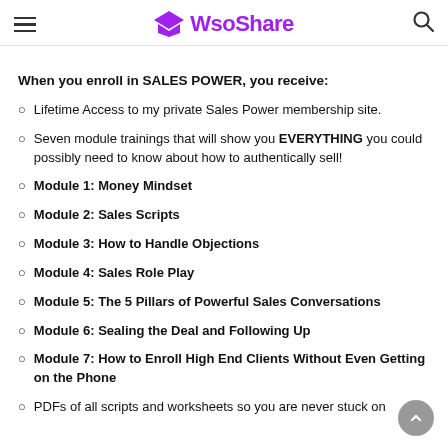WsoShare
When you enroll in SALES POWER, you receive:
Lifetime Access to my private Sales Power membership site.
Seven module trainings that will show you EVERYTHING you could possibly need to know about how to authentically sell!
Module 1: Money Mindset
Module 2: Sales Scripts
Module 3: How to Handle Objections
Module 4: Sales Role Play
Module 5: The 5 Pillars of Powerful Sales Conversations
Module 6: Sealing the Deal and Following Up
Module 7: How to Enroll High End Clients Without Even Getting on the Phone
PDFs of all scripts and worksheets so you are never stuck on